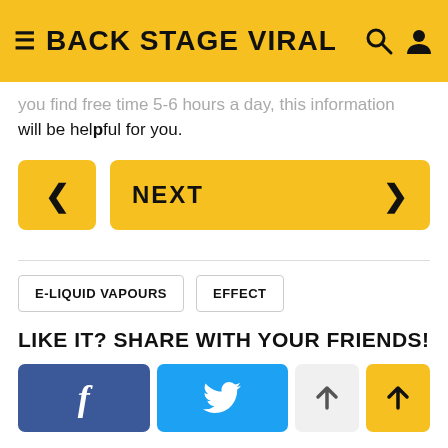BACK STAGE VIRAL
you find free time 5-6 hours a day, this information will be helpful for you.
< | NEXT >
E-LIQUID VAPOURS | EFFECT
LIKE IT? SHARE WITH YOUR FRIENDS!
f | Twitter bird | up arrow | up arrow